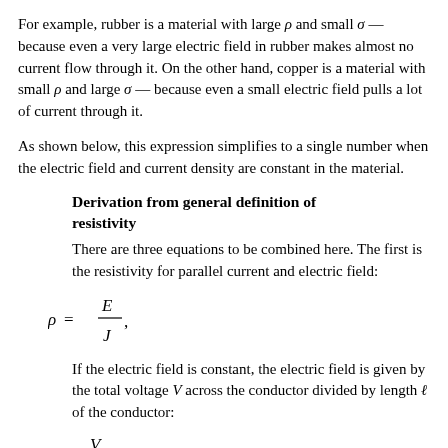For example, rubber is a material with large ρ and small σ — because even a very large electric field in rubber makes almost no current flow through it. On the other hand, copper is a material with small ρ and large σ — because even a small electric field pulls a lot of current through it.
As shown below, this expression simplifies to a single number when the electric field and current density are constant in the material.
Derivation from general definition of resistivity
There are three equations to be combined here. The first is the resistivity for parallel current and electric field:
If the electric field is constant, the electric field is given by the total voltage V across the conductor divided by length ℓ of the conductor: